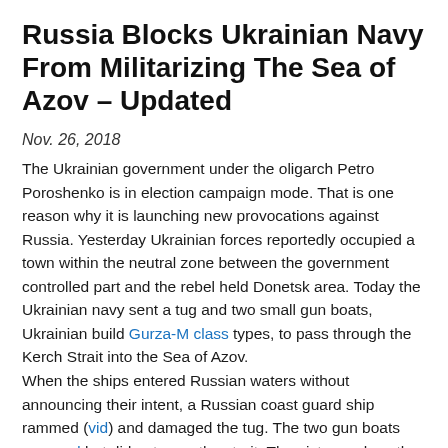Russia Blocks Ukrainian Navy From Militarizing The Sea of Azov – Updated
Nov. 26, 2018
The Ukrainian government under the oligarch Petro Poroshenko is in election campaign mode. That is one reason why it is launching new provocations against Russia. Yesterday Ukrainian forces reportedly occupied a town within the neutral zone between the government controlled part and the rebel held Donetsk area. Today the Ukrainian navy sent a tug and two small gun boats, Ukrainian build Gurza-M class types, to pass through the Kerch Strait into the Sea of Azov.
When the ships entered Russian waters without announcing their intent, a Russian coast guard ship rammed (vid) and damaged the tug. The two gun boats escaped but did not pass the strait. The pictures show the melee at sea.
Read more at https://www.moonofalabama.org/2018/11/russia-